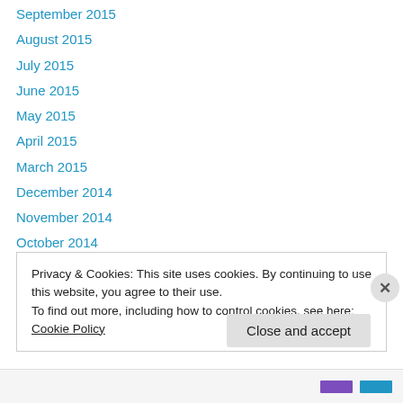September 2015
August 2015
July 2015
June 2015
May 2015
April 2015
March 2015
December 2014
November 2014
October 2014
September 2014
August 2014
July 2014
Privacy & Cookies: This site uses cookies. By continuing to use this website, you agree to their use.
To find out more, including how to control cookies, see here: Cookie Policy
Close and accept